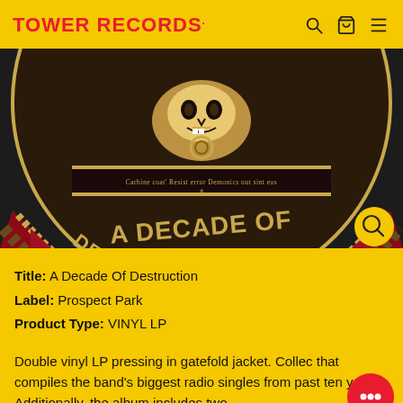TOWER RECORDS
[Figure (photo): Album artwork for 'A Decade Of Destruction' showing a circular emblem with red and gold design, skull imagery, rope border, and large text reading 'A DECADE OF DESTRUCTION' on a dark background]
Title: A Decade Of Destruction
Label: Prospect Park
Product Type: VINYL LP
Double vinyl LP pressing in gatefold jacket. Collec that compiles the band's biggest radio singles from past ten years. Additionally, the album includes two